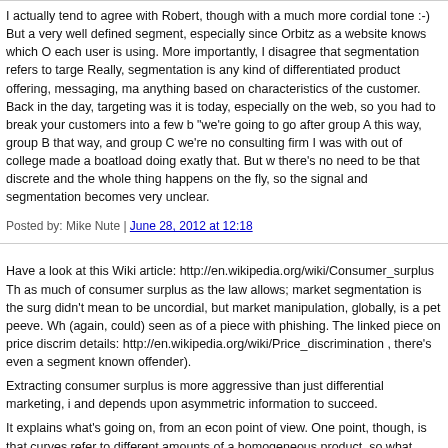I actually tend to agree with Robert, though with a much more cordial tone :-) But a very well defined segment, especially since Orbitz as a website knows which O each user is using. More importantly, I disagree that segmentation refers to targe Really, segmentation is any kind of differentiated product offering, messaging, ma anything based on characteristics of the customer. Back in the day, targeting was it is today, especially on the web, so you had to break your customers into a few k "we're going to go after group A this way, group B that way, and group C we're no consulting firm I was with out of college made a boatload doing exatly that. But w there's no need to be that discrete and the whole thing happens on the fly, so the signal and segmentation becomes very unclear.
Posted by: Mike Nute | June 28, 2012 at 12:18
Have a look at this Wiki article: http://en.wikipedia.org/wiki/Consumer_surplus Th as much of consumer surplus as the law allows; market segmentation is the surg didn't mean to be uncordial, but market manipulation, globally, is a pet peeve. Wh (again, could) seen as of a piece with phishing. The linked piece on price discrim details: http://en.wikipedia.org/wiki/Price_discrimination , there's even a segment known offender).
Extracting consumer surplus is more aggressive than just differential marketing, i and depends upon asymmetric information to succeed.
It explains what's going on, from an econ point of view. One point, though, is that curves refer to different amounts of a homogeneous product, so what Orbitz is do different. If they're showing Mac users "the same" accommodation from the same prices, that's the classic case. OTOH, if (and more likely) Orbitz is finding those w little better, the analysis of what they're doing gets a tad murky.
Posted by: Robert Young | June 28, 2012 at 13:07